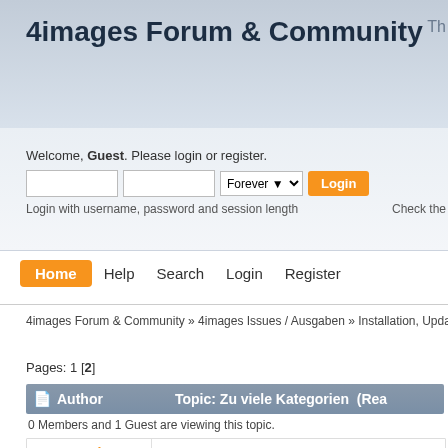4images Forum & Community
Welcome, Guest. Please login or register.
Login with username, password and session length
Check the
Home  Help  Search  Login  Register
4images Forum & Community » 4images Issues / Ausgaben » Installation, Update & Co
Pages: 1 [2]
| Author | Topic: Zu viele Kategorien  (Rea |
| --- | --- |
0 Members and 1 Guest are viewing this topic.
Jan-Lukas
Addicted member
Re: Zu viele Kategorien
« Reply #15 on: April 22, 2008, 10:04:54